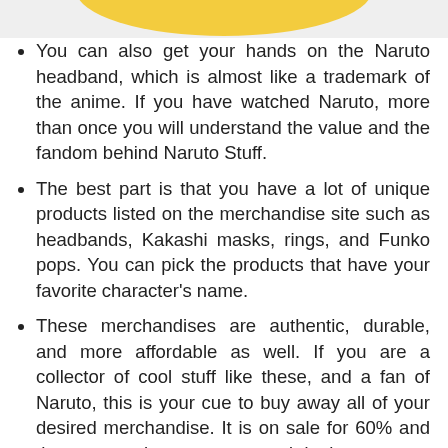[Figure (photo): Partial yellow/golden image at the top of the page, cropped]
You can also get your hands on the Naruto headband, which is almost like a trademark of the anime. If you have watched Naruto, more than once you will understand the value and the fandom behind Naruto Stuff.
The best part is that you have a lot of unique products listed on the merchandise site such as headbands, Kakashi masks, rings, and Funko pops. You can pick the products that have your favorite character's name.
These merchandises are authentic, durable, and more affordable as well. If you are a collector of cool stuff like these, and a fan of Naruto, this is your cue to buy away all of your desired merchandise. It is on sale for 60% and there cannot be any more good deals.
It is time to go crazy and splurge on your favorite products. There is a group of friendly and passionate fans who would form a great community, to honor the popular anime and fans